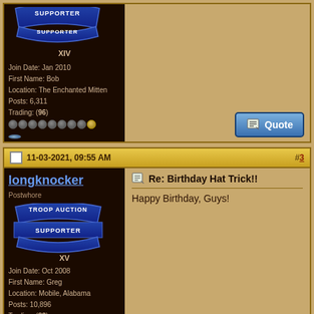XIV
Join Date: Jan 2010
First Name: Bob
Location: The Enchanted Mitten
Posts: 6,311
Trading: (96)
[Figure (screenshot): Quote button, blue gradient with pencil icon]
11-03-2021, 09:55 AM  #3
longknocker
Postwhore
[Figure (illustration): Troop Auction Supporter badge, blue arc banner, XV]
Join Date: Oct 2008
First Name: Greg
Location: Mobile, Alabama
Posts: 10,896
Trading: (82)
Re: Birthday Hat Trick!!
Happy Birthday, Guys!